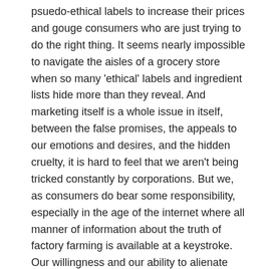psuedo-ethical labels to increase their prices and gouge consumers who are just trying to do the right thing. It seems nearly impossible to navigate the aisles of a grocery store when so many 'ethical' labels and ingredient lists hide more than they reveal. And marketing itself is a whole issue in itself, between the false promises, the appeals to our emotions and desires, and the hidden cruelty, it is hard to feel that we aren't being tricked constantly by corporations. But we, as consumers do bear some responsibility, especially in the age of the internet where all manner of information about the truth of factory farming is available at a keystroke. Our willingness and our ability to alienate ourselves from the conditions of production allows a variety of unethical practices to continue unimpeded by concerned consumers. Willpower, in combination with access to the truth are important elements to support an ethic that means people have to refuse otherwise desirable things – such as delicious food or prestigious coffee – and when the ethical issues are hidden or blurred by labels with false promises and ritzy beautiful coffee shops it becomes all too easy to just not